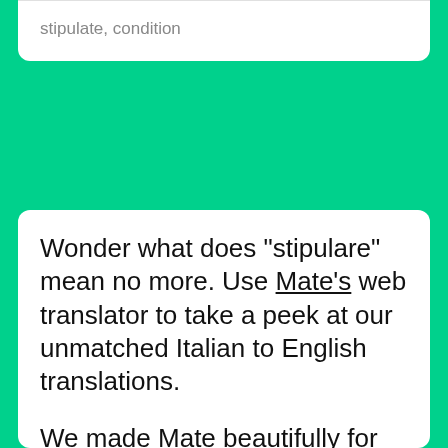stipulate, condition
Wonder what does "stipulare" mean no more. Use Mate's web translator to take a peek at our unmatched Italian to English translations.
We made Mate beautifully for macOS, iOS, Chrome, Firefox, Opera, and Edge, so you can translate anywhere there's text. No more app, browser tab switching, or copy-pasting.